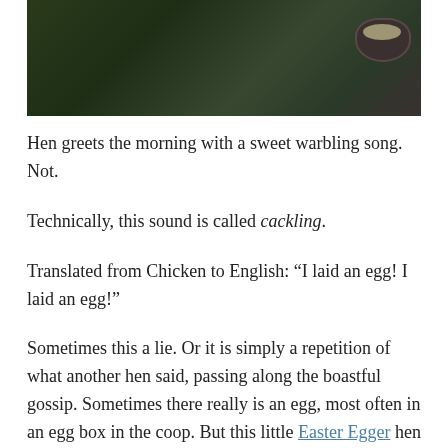[Figure (photo): Partial photo of outdoor scene with green foliage and a dark bowl in the upper right corner, on a dark background]
Hen greets the morning with a sweet warbling song. Not.
Technically, this sound is called cackling.
Translated from Chicken to English: “I laid an egg! I laid an egg!”
Sometimes this a lie. Or it is simply a repetition of what another hen said, passing along the boastful gossip. Sometimes there really is an egg, most often in an egg box in the coop. But this little Easter Egger hen lays her blue eggs here and there so we have to go on an Easter egg hunt to find them. One of the drawbacks to free ranging.
I like my hens, I like their eggs, but I do not really like this